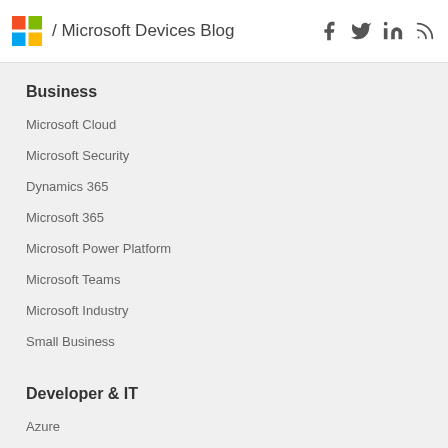/ Microsoft Devices Blog
Business
Microsoft Cloud
Microsoft Security
Dynamics 365
Microsoft 365
Microsoft Power Platform
Microsoft Teams
Microsoft Industry
Small Business
Developer & IT
Azure
Developer Center